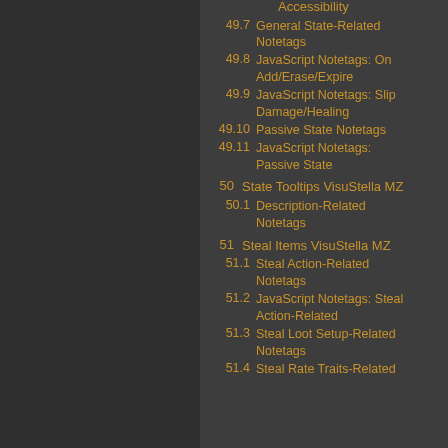Accessibility
49.7  General State-Related Notetags
49.8  JavaScript Notetags: On Add/Erase/Expire
49.9  JavaScript Notetags: Slip Damage/Healing
49.10  Passive State Notetags
49.11  JavaScript Notetags: Passive State
50  State Tooltips VisuStella MZ
50.1  Description-Related Notetags
51  Steal Items VisuStella MZ
51.1  Steal Action-Related Notetags
51.2  JavaScript Notetags: Steal Action-Related
51.3  Steal Loot Setup-Related Notetags
51.4  Steal Rate Traits-Related